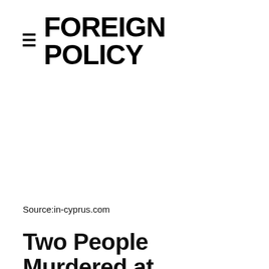≡ FOREIGN POLICY
Source:in-cyprus.com
Two People Murdered at Jacksonville Video Game